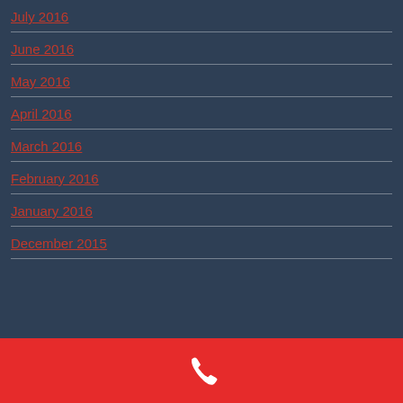July 2016
June 2016
May 2016
April 2016
March 2016
February 2016
January 2016
December 2015
[Figure (illustration): White phone handset icon on red footer bar]